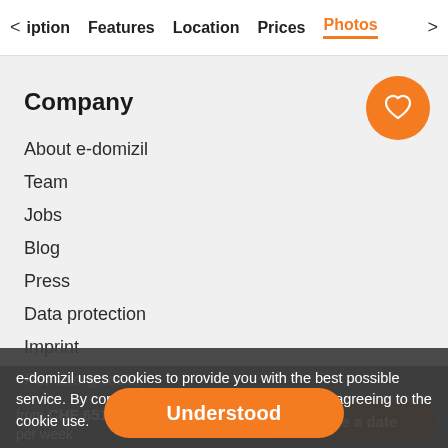< iption   Features   Location   Prices   Photos   >
Company
About e-domizil
Team
Jobs
Blog
Press
Data protection
Imprint
e-domizil uses cookies to provide you with the best possible service. By continuing to browse the site, you are agreeing to the cookie use.
For the guests
Conditions of travel
Voucher conditions
Rating guidelines
Travel tips
from CHF 651.00 per week
Understood
Choose a date